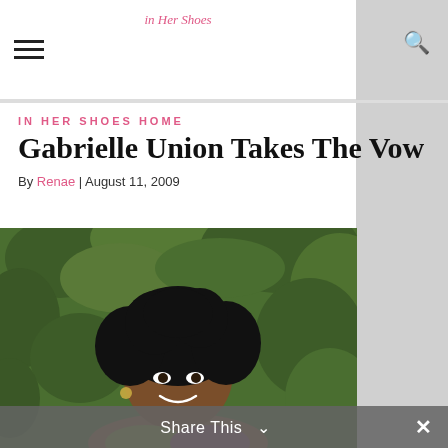In Her Shoes — navigation header with hamburger menu, logo, and search icon
IN HER SHOES HOME
Gabrielle Union Takes The Vow
By Renae | August 11, 2009
[Figure (photo): Portrait photo of a young Black woman with curly hair, smiling, outdoors against a green leafy background, wearing a colorful top.]
Share This ∨  ✕